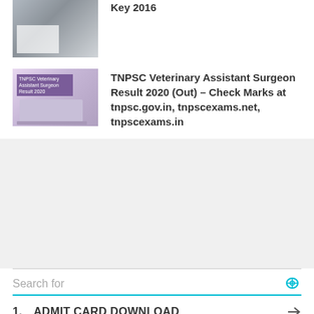Key 2016
[Figure (photo): Photo thumbnail of a person at a desk, business/exam context]
[Figure (photo): Thumbnail with purple banner text: TNPSC Veterinary Assistant Surgeon Result 2020, laptop and papers]
TNPSC Veterinary Assistant Surgeon Result 2020 (Out) – Check Marks at tnpsc.gov.in, tnpscexams.net, tnpscexams.in
Search for
1. ADMIT CARD DOWNLOAD
2. TIME CARD CALCULATOR